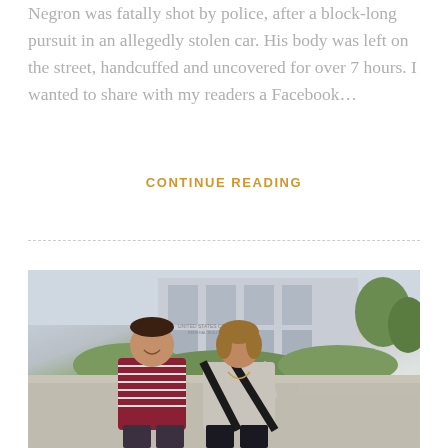Negron was fatally shot by police, after a block-long pursuit in an allegedly stolen car. His body was left on the street, handcuffed and uncovered for over 7 hours. I wanted to share with my readers a Facebook...
CONTINUE READING
[Figure (photo): Two people, a young man in a maroon striped polo shirt and a woman in a black-and-white striped top, seated outdoors in front of what appears to be a courthouse building with bushes behind them.]